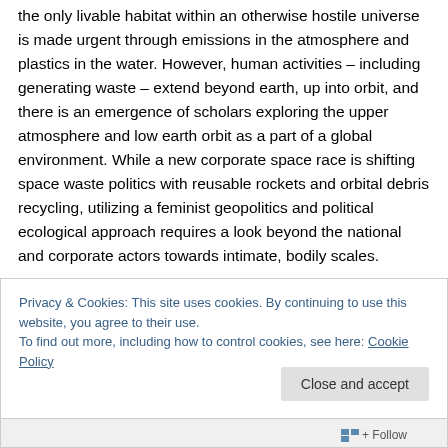the only livable habitat within an otherwise hostile universe is made urgent through emissions in the atmosphere and plastics in the water. However, human activities – including generating waste – extend beyond earth, up into orbit, and there is an emergence of scholars exploring the upper atmosphere and low earth orbit as a part of a global environment. While a new corporate space race is shifting space waste politics with reusable rockets and orbital debris recycling, utilizing a feminist geopolitics and political ecological approach requires a look beyond the national and corporate actors towards intimate, bodily scales.
Privacy & Cookies: This site uses cookies. By continuing to use this website, you agree to their use.
To find out more, including how to control cookies, see here: Cookie Policy